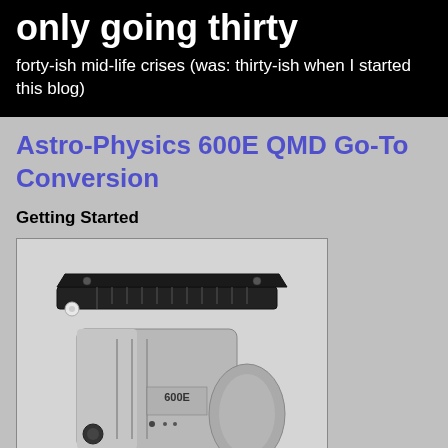only going thirty
forty-ish mid-life crises (was: thirty-ish when I started this blog)
Astro-Physics 600E QMD Go-To Conversion
Getting Started
[Figure (photo): A silver Astro-Physics 600E equatorial mount head with black dovetail saddle plate on top, showing the RA motor housing and mounting hardware, photographed against a light grey background.]